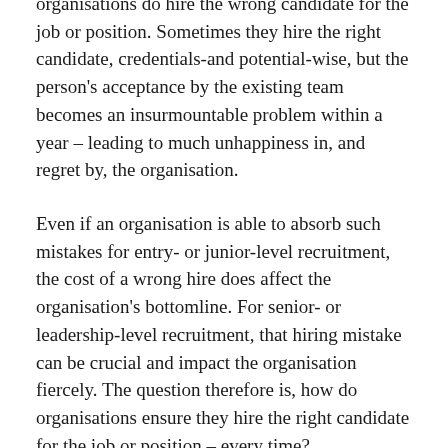organisations do hire the wrong candidate for the job or position. Sometimes they hire the right candidate, credentials- and potential-wise, but the person's acceptance by the existing team becomes an insurmountable problem within a year – leading to much unhappiness in, and regret by, the organisation.
Even if an organisation is able to absorb such mistakes for entry- or junior-level recruitment, the cost of a wrong hire does affect the organisation's bottomline. For senior- or leadership-level recruitment, that hiring mistake can be crucial and impact the organisation fiercely. The question therefore is, how do organisations ensure they hire the right candidate for the job or position – every time?
As far as we know, there is no foolproof method, nor a failsafe strategy, that ensures hiring decisions are unchallenged by circumstances and hiring outcomes dovetail into the organisation's plans without a hitch. Matters are complicated further when, particularly during senior- or leadership-level